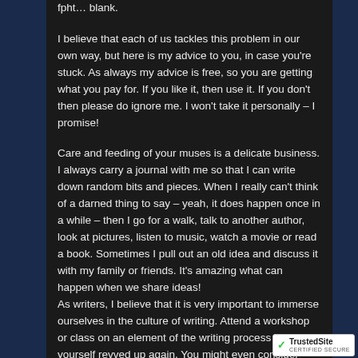fpht… blank.
I believe that each of us tackles this problem in our own way, but here is my advice to you, in case you're stuck. As always my advice is free, so you are getting what you pay for. If you like it, then use it. If you don't then please do ignore me. I won't take it personally – I promise!
Care and feeding of your muses is a delicate business. I always carry a journal with me so that I can write down random bits and pieces. When I really can't think of a darned thing to say – yeah, it does happen once in a while – then I go for a walk, talk to another author, look at pictures, listen to music, watch a movie or read a book. Sometimes I pull out an old idea and discuss it with my family or friends. It's amazing what can happen when we share ideas!
As writers, I believe that it is very important to immerse ourselves in the culture of writing. Attend a workshop or class on an element of the writing process to get yourself revved up again. You might even consider teaching a
[Figure (logo): TrustedSite badge with green checkmark in white box at bottom right]